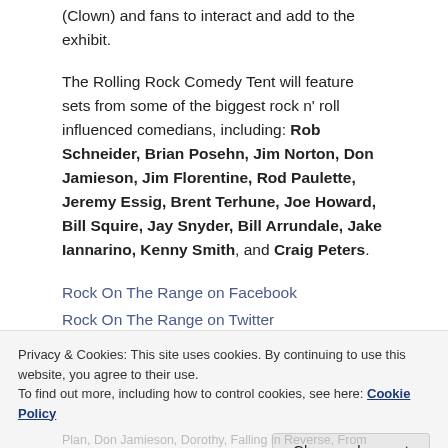(Clown) and fans to interact and add to the exhibit.
The Rolling Rock Comedy Tent will feature sets from some of the biggest rock n' roll influenced comedians, including: Rob Schneider, Brian Posehn, Jim Norton, Don Jamieson, Jim Florentine, Rod Paulette, Jeremy Essig, Brent Terhune, Joe Howard, Bill Squire, Jay Snyder, Bill Arrundale, Jake Iannarino, Kenny Smith, and Craig Peters.
Rock On The Range on Facebook
Rock On The Range on Twitter
Privacy & Cookies: This site uses cookies. By continuing to use this website, you agree to their use.
To find out more, including how to control cookies, see here: Cookie Policy
Close and accept
Plan, Don Jamieson, Dorothy, Falling in Reverse, From